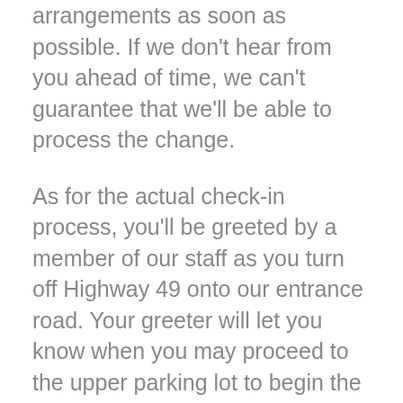arrangements as soon as possible.  If we don't hear from you ahead of time, we can't guarantee that we'll be able to process the change.
As for the actual check-in process, you'll be greeted by a member of our staff as you turn off Highway 49 onto our entrance road.  Your greeter will let you know when you may proceed to the upper parking lot to begin the check-in.
As with last year, we ask that you stay in or near your car.  Once again, we will be unable to provide a tour of Camp upon arrival, though we hope to offer a tour at the end of the session.  We will administer the rapid antigen test while you and your camper are in your car.  Once a negative